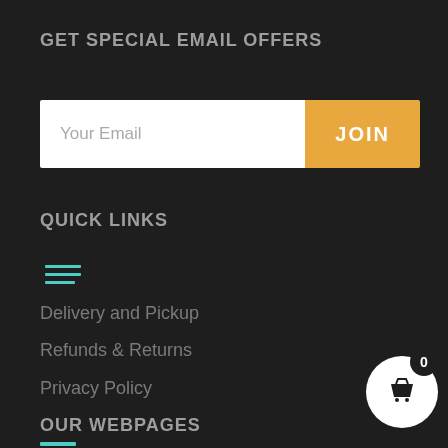GET SPECIAL EMAIL OFFERS
Your Email | JOIN
QUICK LINKS
Delivery and Pickup
Refunds & Returns
Privacy Policy
OUR WEBPAGES